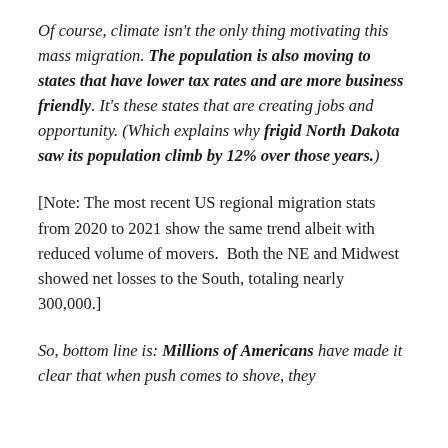Of course, climate isn't the only thing motivating this mass migration. The population is also moving to states that have lower tax rates and are more business friendly. It's these states that are creating jobs and opportunity. (Which explains why frigid North Dakota saw its population climb by 12% over those years.)
[Note: The most recent US regional migration stats from 2020 to 2021 show the same trend albeit with reduced volume of movers.  Both the NE and Midwest showed net losses to the South, totaling nearly 300,000.]
So, bottom line is: Millions of Americans have made it clear that when push comes to shove, they